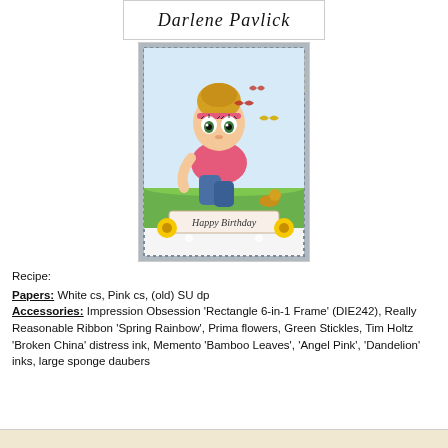[Figure (illustration): Cursive signature text reading 'Darlene Pavlick' in decorative script on a white background with a thin border]
[Figure (photo): A handmade birthday card featuring an illustrated girl with big eyes and blonde hair sitting among butterflies and flowers on a grassy scene, with yellow flowers and a 'Happy Birthday' banner at the bottom, on a patterned background]
Recipe:
Papers:  White cs, Pink cs, (old) SU dp
Accessories:  Impression Obsession 'Rectangle 6-in-1 Frame' (DIE242), Really Reasonable Ribbon 'Spring Rainbow', Prima flowers, Green Stickles, Tim Holtz 'Broken China' distress ink, Memento 'Bamboo Leaves', 'Angel Pink', 'Dandelion' inks, large sponge daubers